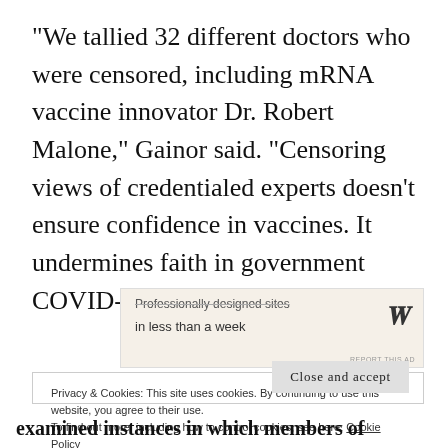“We tallied 32 different doctors who were censored, including mRNA vaccine innovator Dr. Robert Malone,” Gainor said. “Censoring views of credentialed experts doesn’t ensure confidence in vaccines. It undermines faith in government COVID-19 strategies.”
[Figure (other): Advertisement banner with text 'Professionally designed sites in less than a week' and WordPress logo (W)]
Privacy & Cookies: This site uses cookies. By continuing to use this website, you agree to their use.
To find out more, including how to control cookies, see here: Cookie Policy
examined instances in which members of